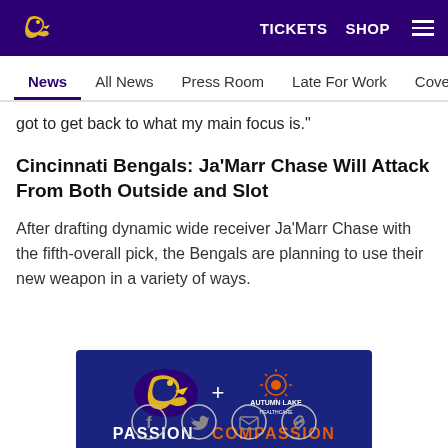Baltimore Ravens — TICKETS  SHOP
News  All News  Press Room  Late For Work  Cover Story  Soc
got to get back to what my main focus is."
Cincinnati Bengals: Ja'Marr Chase Will Attack From Both Outside and Slot
After drafting dynamic wide receiver Ja'Marr Chase with the fifth-overall pick, the Bengals are planning to use their new weapon in a variety of ways.
[Figure (illustration): Baltimore Ravens + Autumn Lake Healthcare advertisement banner. Ravens logo on left, plus sign in center, Autumn Lake Healthcare logo on right. Bottom text: PASSION + COMPASSION]
[Figure (other): Social sharing icons: Facebook, Twitter, Email, Link]